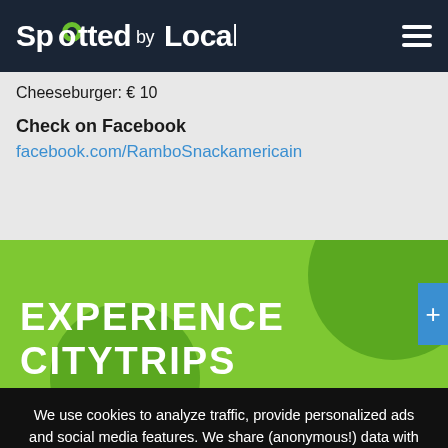Spotted by Locals
Cheeseburger: € 10
Check on Facebook
facebook.com/RamboSnackamericain
[Figure (illustration): Green promotional banner with 'EXPERIENCE CITYTRIPS' text in white bold uppercase letters on a green background with dark green blob shapes]
We use cookies to analyze traffic, provide personalized ads and social media features. We share (anonymous!) data with our partners.
Ok  No  Details